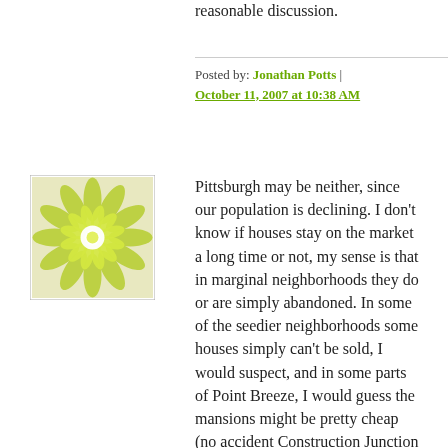reasonable discussion.
Posted by: Jonathan Potts | October 11, 2007 at 10:38 AM
[Figure (illustration): Green and white decorative flower/snowflake logo in a square frame]
Pittsburgh may be neither, since our population is declining. I don't know if houses stay on the market a long time or not, my sense is that in marginal neighborhoods they do or are simply abandoned. In some of the seedier neighborhoods some houses simply can't be sold, I would suspect, and in some parts of Point Breeze, I would guess the mansions might be pretty cheap (no accident Construction Junction is